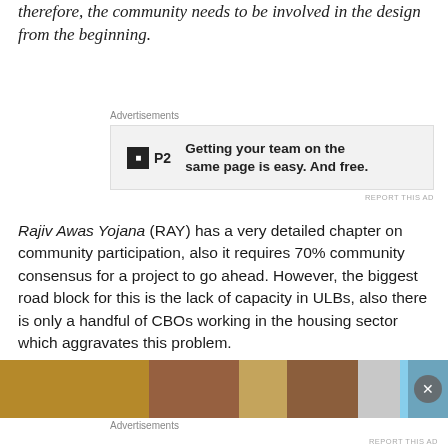therefore, the community needs to be involved in the design from the beginning.
[Figure (other): Advertisement banner for P2 with text: Getting your team on the same page is easy. And free.]
Rajiv Awas Yojana (RAY) has a very detailed chapter on community participation, also it requires 70% community consensus for a project to go ahead. However, the biggest road block for this is the lack of capacity in ULBs, also there is only a handful of CBOs working in the housing sector which aggravates this problem.
[Figure (photo): Advertisement banner showing construction materials including bricks and building supplies. Has a close button (X) on the right side.]
Advertisements